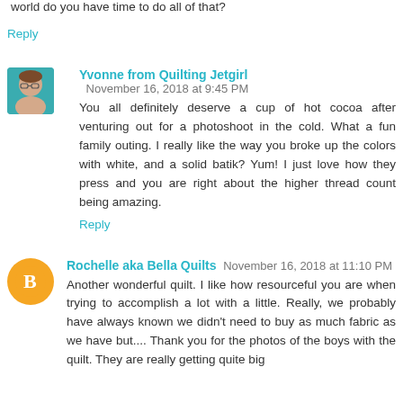world do you have time to do all of that?
Reply
Yvonne from Quilting Jetgirl November 16, 2018 at 9:45 PM
You all definitely deserve a cup of hot cocoa after venturing out for a photoshoot in the cold. What a fun family outing. I really like the way you broke up the colors with white, and a solid batik? Yum! I just love how they press and you are right about the higher thread count being amazing.
Reply
Rochelle aka Bella Quilts November 16, 2018 at 11:10 PM
Another wonderful quilt. I like how resourceful you are when trying to accomplish a lot with a little. Really, we probably have always known we didn't need to buy as much fabric as we have but.... Thank you for the photos of the boys with the quilt. They are really getting quite big